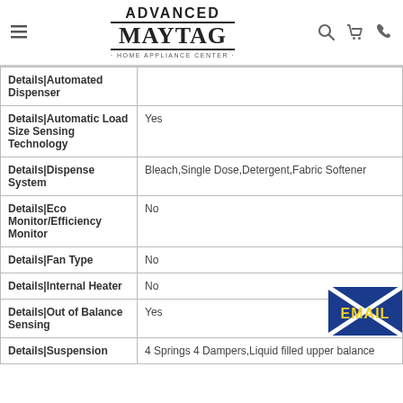[Figure (logo): Advanced Maytag Home Appliance Center logo with hamburger menu, search, cart, and phone icons]
| Feature | Value |
| --- | --- |
| Details|Automated Dispenser |  |
| Details|Automatic Load Size Sensing Technology | Yes |
| Details|Dispense System | Bleach,Single Dose,Detergent,Fabric Softener |
| Details|Eco Monitor/Efficiency Monitor | No |
| Details|Fan Type | No |
| Details|Internal Heater | No |
| Details|Out of Balance Sensing | Yes |
| Details|Suspension | 4 Springs 4 Dampers,Liquid filled upper balance |